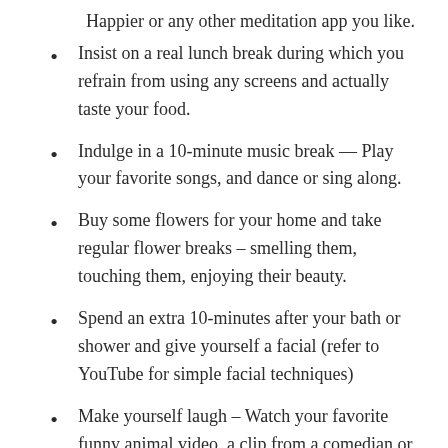Happier or any other meditation app you like.
Insist on a real lunch break during which you refrain from using any screens and actually taste your food.
Indulge in a 10-minute music break — Play your favorite songs, and dance or sing along.
Buy some flowers for your home and take regular flower breaks – smelling them, touching them, enjoying their beauty.
Spend an extra 10-minutes after your bath or shower and give yourself a facial (refer to YouTube for simple facial techniques)
Make yourself laugh – Watch your favorite funny animal video, a clip from a comedian or